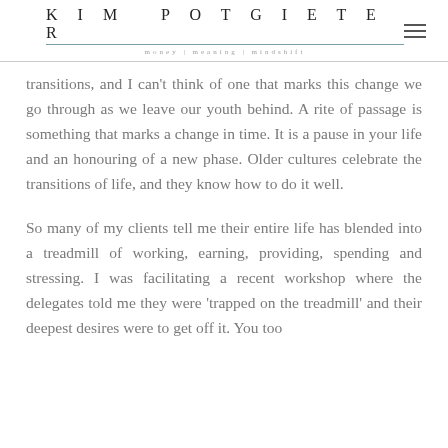KIM POTGIETER | money | meaning | mindshift
transitions, and I can't think of one that marks this change we go through as we leave our youth behind. A rite of passage is something that marks a change in time. It is a pause in your life and an honouring of a new phase. Older cultures celebrate the transitions of life, and they know how to do it well.
So many of my clients tell me their entire life has blended into a treadmill of working, earning, providing, spending and stressing. I was facilitating a recent workshop where the delegates told me they were 'trapped on the treadmill' and their deepest desires were to get off it. You too